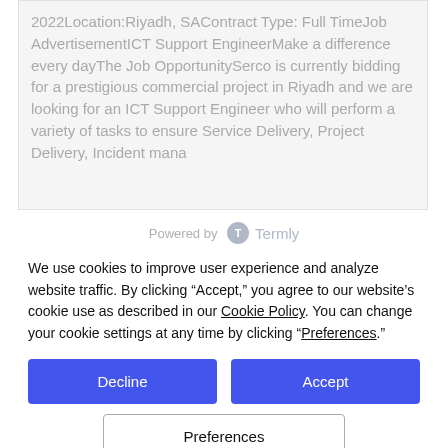2022Location:Riyadh, SAContract Type: Full TimeJob AdvertisementICT Support EngineerMake a difference every dayThe Job OpportunitySerco is currently bidding for a prestigious commercial project in Riyadh and we are looking for an ICT Support Engineer who will perform a variety of tasks to ensure Service Delivery, Project Delivery, Incident mana...
Powered by Termly
We use cookies to improve user experience and analyze website traffic. By clicking “Accept,” you agree to our website’s cookie use as described in our Cookie Policy. You can change your cookie settings at any time by clicking “Preferences.”
Decline
Accept
Preferences